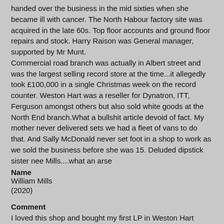handed over the business in the mid sixties when she became ill with cancer. The North Habour factory site was acquired in the late 60s. Top floor accounts and ground floor repairs and stock. Harry Raison was General manager, supported by Mr Munt. Commercial road branch was actually in Albert street and was the largest selling record store at the time...it allegedly took £100,000 in a single Christmas week on the record counter. Weston Hart was a reseller for Dynatron, ITT, Ferguson amongst others but also sold white goods at the North End branch.What a bullshit article devoid of fact. My mother never delivered sets we had a fleet of vans to do that. And Sally McDonald never set foot in a shop to work as we sold the business before she was 15. Deluded dipstick sister nee Mills....what an arse
Name
William Mills
(2020)
Comment
I loved this shop and bought my first LP in Weston Hart Commercial Road. (Arundel Street to be precise).
Name
Howard Honey
(2018)